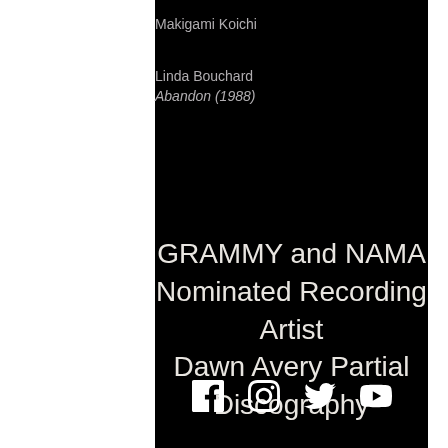Makigami Koichi
Linda Bouchard
Abandon (1988)
GRAMMY and NAMA Nominated Recording Artist Dawn Avery Partial Discography
[Figure (other): Social media icons: Facebook, Instagram, Twitter, YouTube]